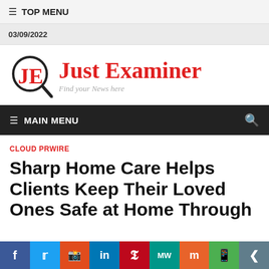≡ TOP MENU
03/09/2022
[Figure (logo): Just Examiner logo with JE magnifying glass icon and tagline 'Find your News here']
≡ MAIN MENU
CLOUD PRWIRE
Sharp Home Care Helps Clients Keep Their Loved Ones Safe at Home Through